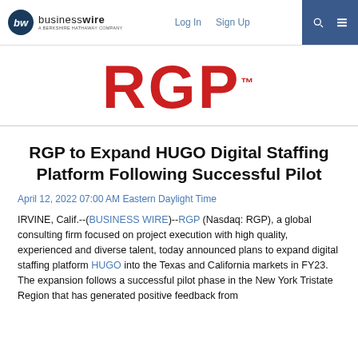businesswire | A BERKSHIRE HATHAWAY COMPANY | Log In | Sign Up
[Figure (logo): RGP logo in red with trademark symbol]
RGP to Expand HUGO Digital Staffing Platform Following Successful Pilot
April 12, 2022 07:00 AM Eastern Daylight Time
IRVINE, Calif.--(BUSINESS WIRE)--RGP (Nasdaq: RGP), a global consulting firm focused on project execution with high quality, experienced and diverse talent, today announced plans to expand digital staffing platform HUGO into the Texas and California markets in FY23. The expansion follows a successful pilot phase in the New York Tristate Region that has generated positive feedback from